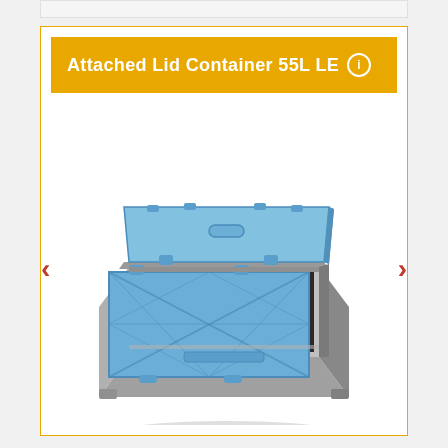Attached Lid Container 55L LE
[Figure (photo): Photograph of a blue and grey attached lid container (55L LE) shown open at an angle, with blue snap-on lids folded open and a dark grey/black interior body, grey base.]